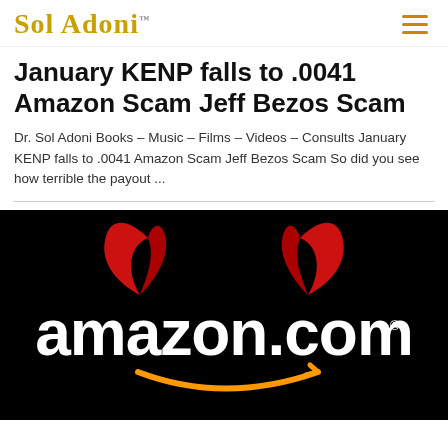Sol Adoni
January KENP falls to .0041 Amazon Scam Jeff Bezos Scam
Dr. Sol Adoni Books – Music – Films – Videos – Consults January KENP falls to .0041 Amazon Scam Jeff Bezos Scam So did you see how terrible the payout ...
[Figure (photo): Amazon.com logo on black background with red devil horns above it, with the signature orange arrow smile beneath the text]